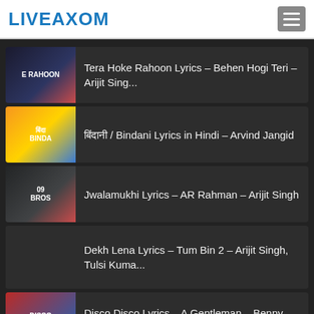LIVEAXOM
Tera Hoke Rahoon Lyrics – Behen Hogi Teri – Arijit Sing...
बिंदानी / Bindani Lyrics in Hindi – Arvind Jangid
Jwalamukhi Lyrics – AR Rahman – Arijit Singh
Dekh Lena Lyrics – Tum Bin 2 – Arijit Singh, Tulsi Kuma...
Disco Disco Lyrics – A Gentleman – Benny Dayal | LiveAx…